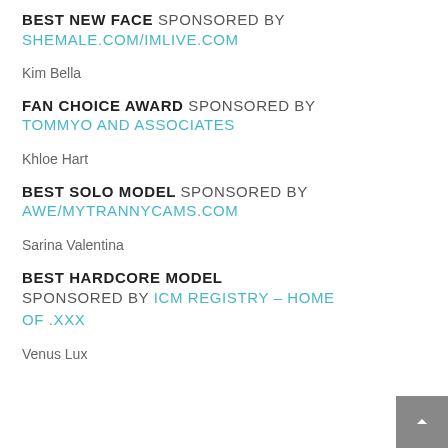BEST NEW FACE SPONSORED BY SHEMALE.COM/IMLIVE.COM
Kim Bella
FAN CHOICE AWARD SPONSORED BY TOMMYO AND ASSOCIATES
Khloe Hart
BEST SOLO MODEL SPONSORED BY AWE/MYTRANNYCAMS.COM
Sarina Valentina
BEST HARDCORE MODEL SPONSORED BY ICM REGISTRY – HOME OF .XXX
Venus Lux